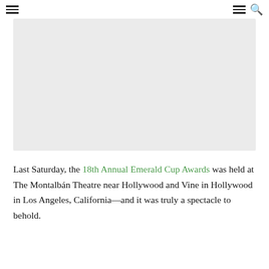Navigation bar with hamburger menu icons and search icon
[Figure (photo): Large light gray rectangular image placeholder]
Last Saturday, the 18th Annual Emerald Cup Awards was held at The Montalbán Theatre near Hollywood and Vine in Hollywood in Los Angeles, California—and it was truly a spectacle to behold.